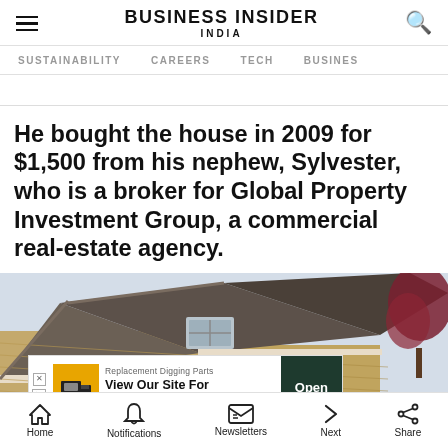BUSINESS INSIDER INDIA
SUSTAINABILITY  CAREERS  TECH  BUSINESS
He bought the house in 2009 for $1,500 from his nephew, Sylvester, who is a broker for Global Property Investment Group, a commercial real-estate agency.
[Figure (photo): Roof and upper facade of a yellow/tan wood-sided house against a cloudy sky, with a red-leafed tree visible on the right side.]
[Figure (other): Advertisement overlay: 'Replacement Digging Parts – View Our Site For Information' with an Open button on dark green background.]
Home  Notifications  Newsletters  Next  Share